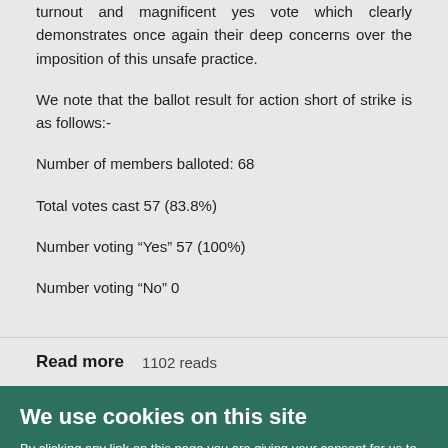turnout and magnificent yes vote which clearly demonstrates once again their deep concerns over the imposition of this unsafe practice.
We note that the ballot result for action short of strike is as follows:-
Number of members balloted: 68
Total votes cast 57 (83.8%)
Number voting “Yes” 57 (100%)
Number voting “No” 0
Read more   1102 reads
We use cookies on this site
By clicking any link on this page you are giving your consent for us to set cookies.
OK   More info